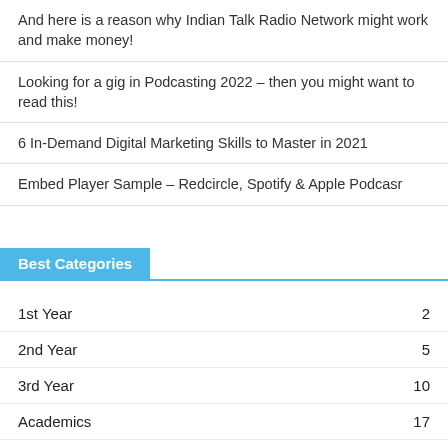And here is a reason why Indian Talk Radio Network might work and make money!
Looking for a gig in Podcasting 2022 – then you might want to read this!
6 In-Demand Digital Marketing Skills to Master in 2021
Embed Player Sample – Redcircle, Spotify & Apple Podcasr
Best Categories
1st Year  2
2nd Year  5
3rd Year  10
Academics  17
Advertising  22